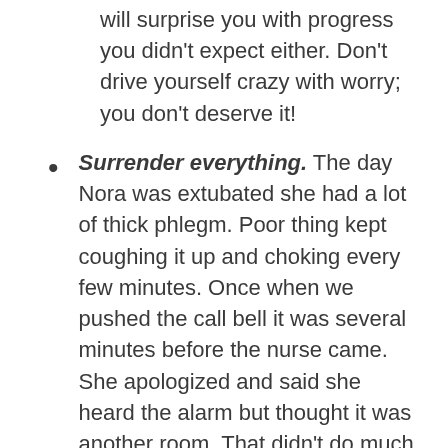will surprise you with progress you didn't expect either. Don't drive yourself crazy with worry; you don't deserve it!
Surrender everything. The day Nora was extubated she had a lot of thick phlegm. Poor thing kept coughing it up and choking every few minutes. Once when we pushed the call bell it was several minutes before the nurse came. She apologized and said she heard the alarm but thought it was another room. That didn't do much to allay my fears of what would happen when we left :/ As I was having trouble falling asleep that night I just kept surrendering it to the Lord and